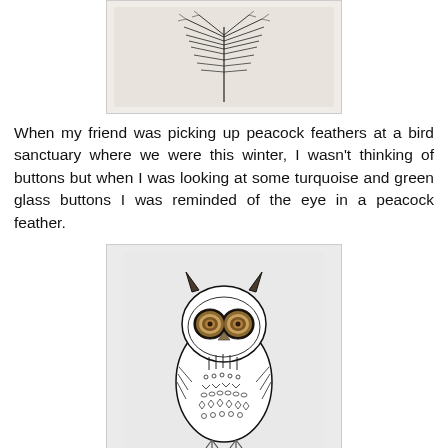[Figure (illustration): A feather illustration drawn in ink on a beige/grey background, showing a sprig-like feather with multiple thin branches.]
When my friend was picking up peacock feathers at a bird sanctuary where we were this winter, I wasn't thinking of buttons but when I was looking at some turquoise and green glass buttons I was reminded of the eye in a peacock feather.
[Figure (illustration): An illustrated owl with detailed patterned feathers rendered in black and white line art, with two large round button eyes that appear to be actual buttons placed on the paper illustration.]